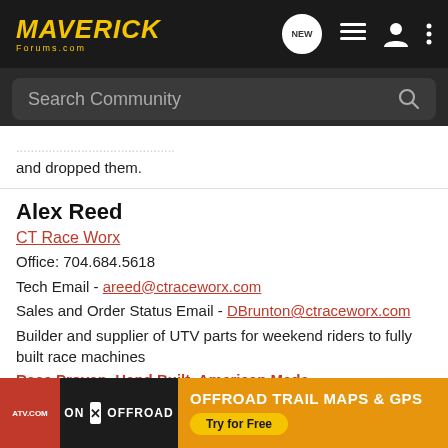[Figure (screenshot): Maverick Forums navigation bar with logo, NEW chat bubble icon, list icon, user icon, and vertical dots menu icon on dark background]
[Figure (screenshot): Search Community search bar on dark background with magnifying glass icon]
and dropped them.
Alex Reed
CT Race Worx
Office: 704.684.5618
Tech Email - areed@ctraceworx.com
Sales and Order Status Email - DBrunton@ctraceworx.com
Builder and supplier of UTV parts for weekend riders to fully built race machines
Race Proven, Hand Built, American Made
MMW
[Figure (screenshot): Ad banner for ON X OFFROAD: OFFROAD TRAIL MAPS & GPS Try for Free]